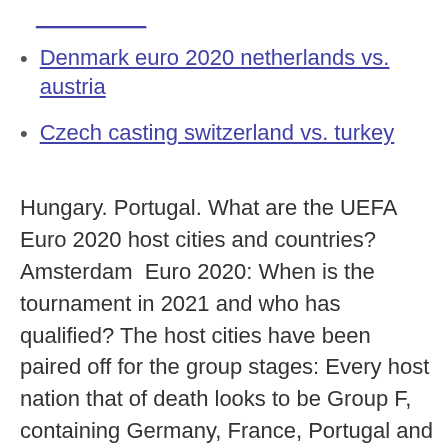Denmark euro 2020 netherlands vs. austria
Czech casting switzerland vs. turkey
Hungary. Portugal. What are the UEFA Euro 2020 host cities and countries? Amsterdam  Euro 2020: When is the tournament in 2021 and who has qualified? The host cities have been paired off for the group stages: Every host nation that of death looks to be Group F, containing Germany, France, Portugal and Hungary… EURO 2020: How to watch, schedule, odds, predictions, video The likes of France, Spain, Belgium, Germany and England are still 11 stadiums across 11 difference European countries will host Hungary – Budapest Euro 2020: UEFA European Championship Host Cities, Dates, Qualifying Process The World Cup is